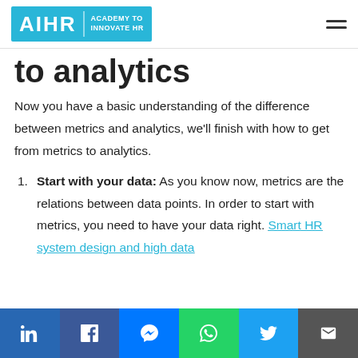AIHR | ACADEMY TO INNOVATE HR
to analytics
Now you have a basic understanding of the difference between metrics and analytics, we'll finish with how to get from metrics to analytics.
Start with your data: As you know now, metrics are the relations between data points. In order to start with metrics, you need to have your data right. Smart HR system design and high data
LinkedIn Facebook Messenger WhatsApp Twitter Email